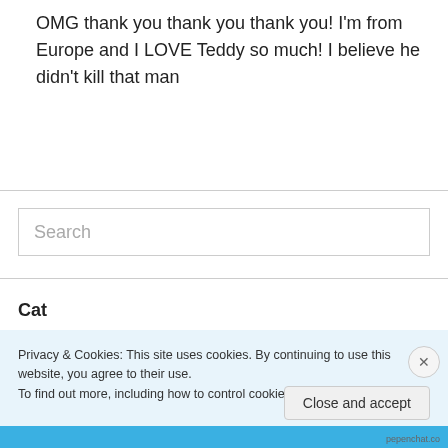OMG thank you thank you thank you! I'm from Europe and I LOVE Teddy so much! I believe he didn't kill that man
Search
Categories
Privacy & Cookies: This site uses cookies. By continuing to use this website, you agree to their use.
To find out more, including how to control cookies, see here: Cookie Policy
Close and accept